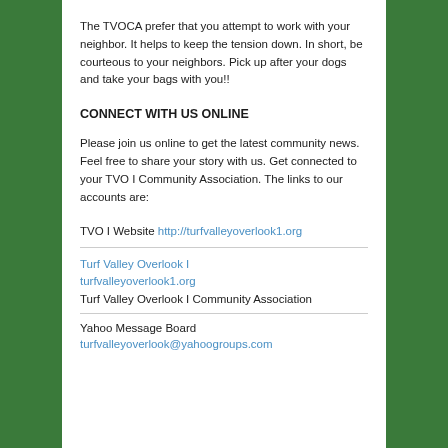The TVOCA prefer that you attempt to work with your neighbor. It helps to keep the tension down. In short, be courteous to your neighbors. Pick up after your dogs and take your bags with you!!
CONNECT WITH US ONLINE
Please join us online to get the latest community news. Feel free to share your story with us. Get connected to your TVO I Community Association. The links to our accounts are:
TVO I Website http://turfvalleyoverlook1.org
Turf Valley Overlook I
turfvalleyoverlook1.org
Turf Valley Overlook I Community Association
Yahoo Message Board
turfvalleyoverlook@yahoogroups.com